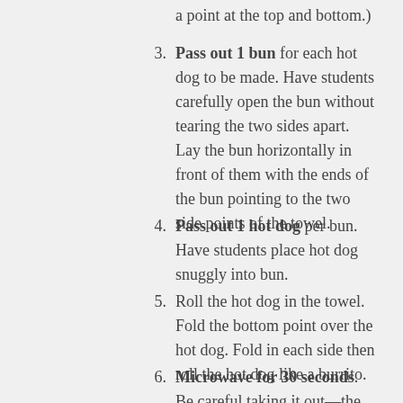a point at the top and bottom.)
3. Pass out 1 bun for each hot dog to be made. Have students carefully open the bun without tearing the two sides apart. Lay the bun horizontally in front of them with the ends of the bun pointing to the two side points of the towel.
4. Pass out 1 hot dog per bun. Have students place hot dog snuggly into bun.
5. Roll the hot dog in the towel. Fold the bottom point over the hot dog. Fold in each side then roll the hot dog like a burrito.
6. Microwave for 30 seconds. Be careful taking it out—the hot dog